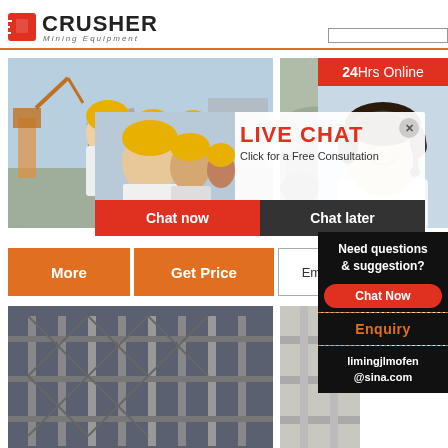[Figure (logo): Crusher Mining Equipment logo with red shopping bag icon and bold CRUSHER text]
[Figure (photo): Construction site with excavators and workers in yellow hard hats]
[Figure (photo): Rock/gravel quarry site image on right]
24Hrs Online
[Figure (photo): Customer support woman with headset smiling]
[Figure (screenshot): Live Chat popup overlay with red LIVE CHAT title, 'Click for a Free Consultation', Chat now and Chat later buttons]
More
Get Price
Email c
Need questions & suggestion?
Chat Now
Enquiry
limingjlmofen@sina.com
[Figure (photo): Industrial steel structure or machinery at bottom left]
[Figure (photo): Partial image bottom right]